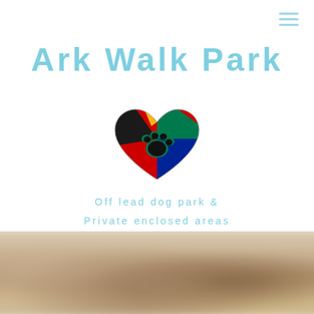[Figure (logo): Hamburger menu icon (three horizontal lines) in light blue, top right corner]
Ark Walk Park
[Figure (logo): Heart-shaped logo with South African flag colors (green, red, blue, black, yellow) and a green paw print in the center]
Off lead dog park & Private enclosed areas
[Figure (photo): Blurred photograph of a dog or dogs, warm beige and brown tones, bottom half of page]